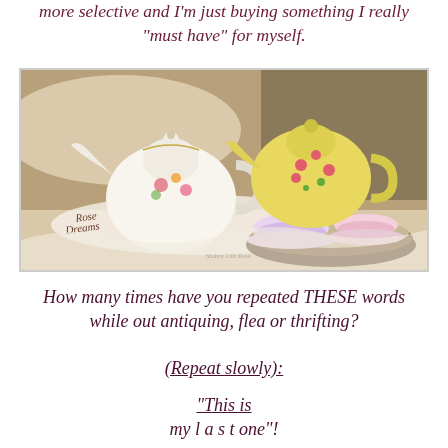more selective and I'm just buying something I really "must have" for myself.
[Figure (photo): Two floral chintz teapots and two teacups with saucers arranged on a decorative wooden tray with lace, on a floral background. The words 'Rose Dreams' appear on fabric in the background.]
How many times have you repeated THESE words while out antiquing, flea or thrifting?
(Repeat slowly):
"This is my l a s t one"!